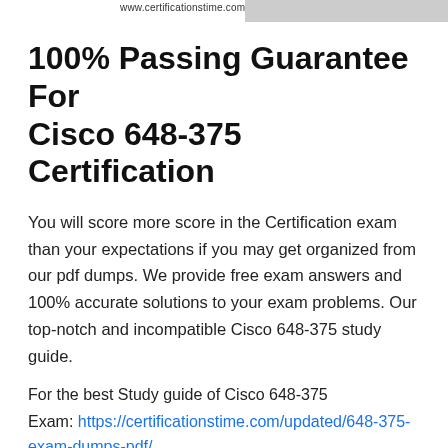www.certificationstime.com
100% Passing Guarantee For Cisco 648-375 Certification
You will score more score in the Certification exam than your expectations if you may get organized from our pdf dumps. We provide free exam answers and 100% accurate solutions to your exam problems. Our top-notch and incompatible Cisco 648-375 study guide.
For the best Study guide of Cisco 648-375 Exam: https://certificationstime.com/updated/648-375-exam-dumps-pdf/
Cisco 648-375 Exam Dumps Keep